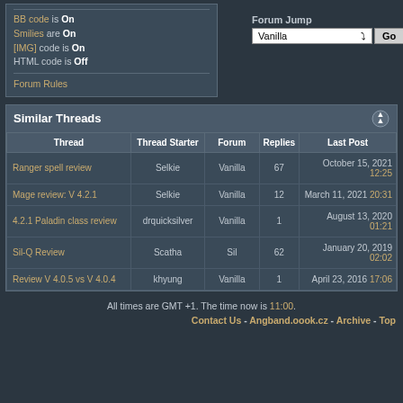You may not edit your posts
BB code is On
Smilies are On
[IMG] code is On
HTML code is Off
Forum Rules
Forum Jump
Vanilla  Go
Similar Threads
| Thread | Thread Starter | Forum | Replies | Last Post |
| --- | --- | --- | --- | --- |
| Ranger spell review | Selkie | Vanilla | 67 | October 15, 2021 12:25 |
| Mage review: V 4.2.1 | Selkie | Vanilla | 12 | March 11, 2021 20:31 |
| 4.2.1 Paladin class review | drquicksilver | Vanilla | 1 | August 13, 2020 01:21 |
| Sil-Q Review | Scatha | Sil | 62 | January 20, 2019 02:02 |
| Review V 4.0.5 vs V 4.0.4 | khyung | Vanilla | 1 | April 23, 2016 17:06 |
All times are GMT +1. The time now is 11:00.
Contact Us - Angband.oook.cz - Archive - Top